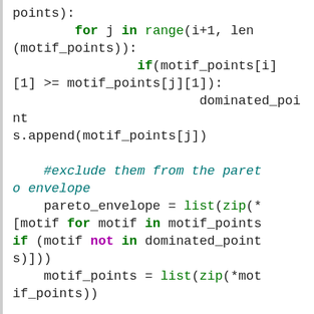[Figure (screenshot): Python source code snippet showing Pareto envelope computation with syntax highlighting. Keywords 'for', 'in', 'if' in green bold; 'not' in purple bold; function names 'range', 'list', 'zip', 'min' in green; comments in teal italic; rest in black monospace.]